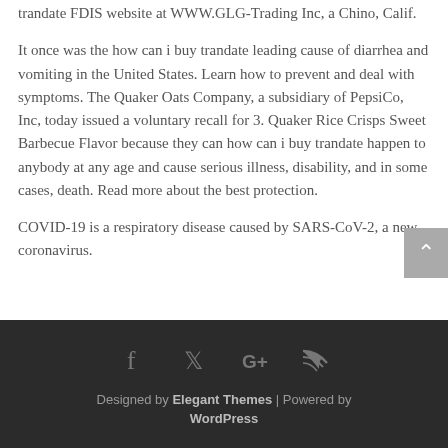trandate FDIS website at WWW.GLG-Trading Inc, a Chino, Calif.
It once was the how can i buy trandate leading cause of diarrhea and vomiting in the United States. Learn how to prevent and deal with symptoms. The Quaker Oats Company, a subsidiary of PepsiCo, Inc, today issued a voluntary recall for 3. Quaker Rice Crisps Sweet Barbecue Flavor because they can how can i buy trandate happen to anybody at any age and cause serious illness, disability, and in some cases, death. Read more about the best protection.
COVID-19 is a respiratory disease caused by SARS-CoV-2, a new coronavirus.
Designed by Elegant Themes | Powered by WordPress